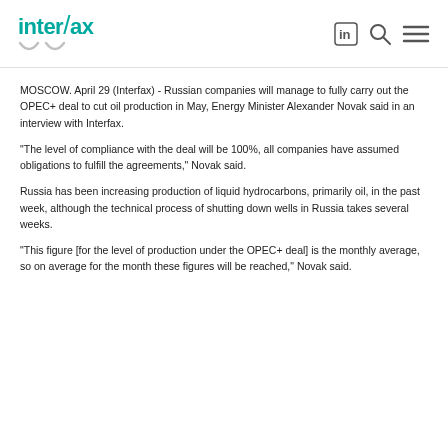Interfax
MOSCOW. April 29 (Interfax) - Russian companies will manage to fully carry out the OPEC+ deal to cut oil production in May, Energy Minister Alexander Novak said in an interview with Interfax.
"The level of compliance with the deal will be 100%, all companies have assumed obligations to fulfill the agreements," Novak said.
Russia has been increasing production of liquid hydrocarbons, primarily oil, in the past week, although the technical process of shutting down wells in Russia takes several weeks.
"This figure [for the level of production under the OPEC+ deal] is the monthly average, so on average for the month these figures will be reached," Novak said.